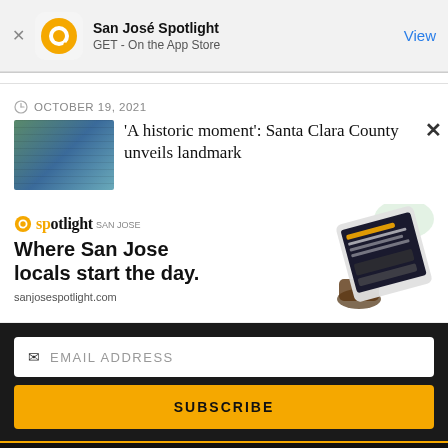[Figure (screenshot): App Store banner with San José Spotlight app icon (orange circle with Q-like shape), app name 'San José Spotlight', subtitle 'GET - On the App Store', and blue 'View' link on the right]
OCTOBER 19, 2021
[Figure (photo): Thumbnail image of a modern building with green glass facade]
'A historic moment': Santa Clara County unveils landmark
[Figure (infographic): San José Spotlight advertisement showing logo, tagline 'Where San Jose locals start the day.', website sanjosespotlight.com, and a tablet device image on the right]
EMAIL ADDRESS
SUBSCRIBE
Thanks, I'm not interested or already a subscriber